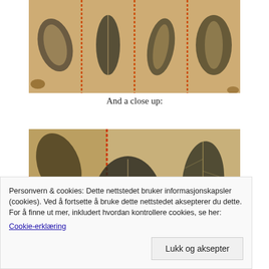[Figure (photo): Close-up of a textile/fabric piece with leaf prints stamped in dark ink on a cream/tan background, divided into sections with orange/red stitched lines. Multiple leaf varieties visible including fern, oak, and other leaves.]
And a close up:
[Figure (photo): Closer view of the same textile/fabric piece showing detailed leaf prints in dark blue/black ink on cream fabric with orange/red stitching dividing sections. Oak leaf, fern fronds, and other botanical prints visible.]
Personvern & cookies: Dette nettstedet bruker informasjonskapsler (cookies). Ved å fortsette å bruke dette nettstedet aksepterer du dette.
For å finne ut mer, inkludert hvordan kontrollere cookies, se her: Cookie-erklæring
Lukk og aksepter